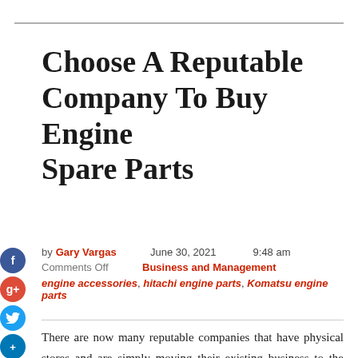Choose A Reputable Company To Buy Engine Spare Parts
by Gary Vargas   June 30, 2021   9:48 am
Comments Off   Business and Management
engine accessories, hitachi engine parts, Komatsu engine parts
There are now many reputable companies that have physical stores and are simply moving their existing business to the online world. Often these dealers have years of experience in